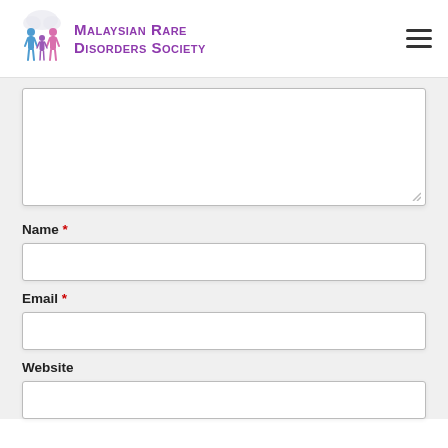Malaysian Rare Disorders Society
[Figure (screenshot): Large empty textarea form field with resize handle at bottom-right]
Name *
[Figure (screenshot): Empty text input field for Name]
Email *
[Figure (screenshot): Empty text input field for Email]
Website
[Figure (screenshot): Empty text input field for Website]